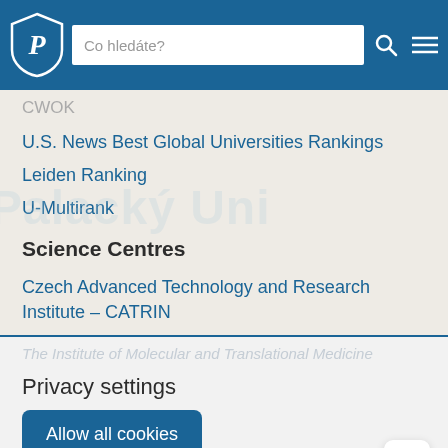Co hledáte?
CWOK
U.S. News Best Global Universities Rankings
Leiden Ranking
U-Multirank
Science Centres
Czech Advanced Technology and Research Institute – CATRIN
The Institute of Molecular and Translational Medicine
Privacy settings
Allow all cookies
More...